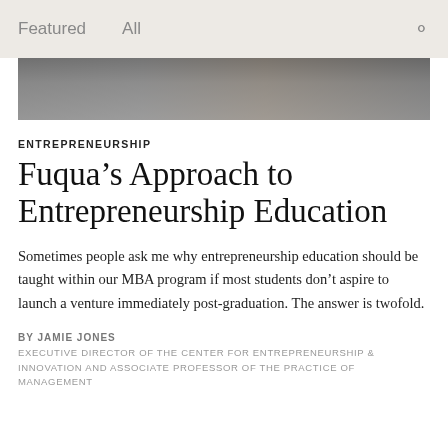Featured   All
[Figure (photo): Partial photo strip showing people in what appears to be a classroom or office setting]
ENTREPRENEURSHIP
Fuqua’s Approach to Entrepreneurship Education
Sometimes people ask me why entrepreneurship education should be taught within our MBA program if most students don’t aspire to launch a venture immediately post-graduation. The answer is twofold.
BY JAMIE JONES
EXECUTIVE DIRECTOR OF THE CENTER FOR ENTREPRENEURSHIP & INNOVATION AND ASSOCIATE PROFESSOR OF THE PRACTICE OF MANAGEMENT